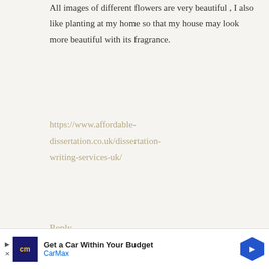All images of different flowers are very beautiful , I also like planting at my home so that my house may look more beautiful with its fragrance.
https://www.affordable-dissertation.co.uk/dissertation-writing-services-uk/
Reply
POWERBALLSITE says
OCTOBER 20, 2020 AT 2:30 AM
[Figure (illustration): Grey avatar placeholder image with a circular head and body silhouette]
Get a Car Within Your Budget CarMax